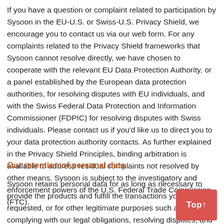If you have a question or complaint related to participation by Sysoon in the EU-U.S. or Swiss-U.S. Privacy Shield, we encourage you to contact us via our web form. For any complaints related to the Privacy Shield frameworks that Sysoon cannot resolve directly, we have chosen to cooperate with the relevant EU Data Protection Authority, or a panel established by the European data protection authorities, for resolving disputes with EU individuals, and with the Swiss Federal Data Protection and Information Commissioner (FDPIC) for resolving disputes with Swiss individuals. Please contact us if you'd like us to direct you to your data protection authority contacts. As further explained in the Privacy Shield Principles, binding arbitration is available to address residual complaints not resolved by other means. Sysoon is subject to the investigatory and enforcement powers of the U.S. Federal Trade Commission (FTC).
Our retention of personal data
Sysoon retains personal data for as long as necessary to provide the products and fulfill the transactions you have requested, or for other legitimate purposes such as complying with our legal obligations, resolving disputes, and enforcing our agreements